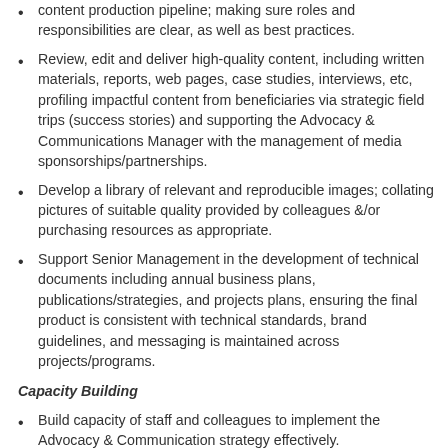content production pipeline; making sure roles and responsibilities are clear, as well as best practices.
Review, edit and deliver high-quality content, including written materials, reports, web pages, case studies, interviews, etc, profiling impactful content from beneficiaries via strategic field trips (success stories) and supporting the Advocacy & Communications Manager with the management of media sponsorships/partnerships.
Develop a library of relevant and reproducible images; collating pictures of suitable quality provided by colleagues &/or purchasing resources as appropriate.
Support Senior Management in the development of technical documents including annual business plans, publications/strategies, and projects plans, ensuring the final product is consistent with technical standards, brand guidelines, and messaging is maintained across projects/programs.
Capacity Building
Build capacity of staff and colleagues to implement the Advocacy & Communication strategy effectively.
Participate in Implementing Partner capacity assessments; providing with organizational background Marketing and